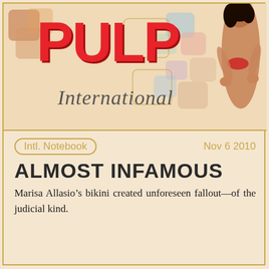[Figure (logo): Pulp International logo with colorful retro squares and pin-up woman silhouette. Large red bold PULP text with italic International script below.]
Intl. Notebook
Nov 6 2010
ALMOST INFAMOUS
Marisa Allasio’s bikini created unforeseen fallout—of the judicial kind.